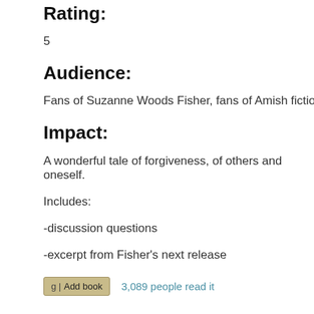Rating:
5
Audience:
Fans of Suzanne Woods Fisher, fans of Amish fiction, those intereste
Impact:
A wonderful tale of forgiveness, of others and oneself.
Includes:
-discussion questions
-excerpt from Fisher's next release
3,089 people read it